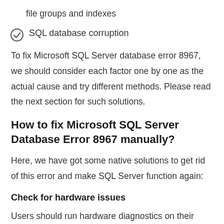file groups and indexes
SQL database corruption
To fix Microsoft SQL Server database error 8967, we should consider each factor one by one as the actual cause and try different methods. Please read the next section for such solutions.
How to fix Microsoft SQL Server Database Error 8967 manually?
Here, we have got some native solutions to get rid of this error and make SQL Server function again:
Check for hardware issues
Users should run hardware diagnostics on their